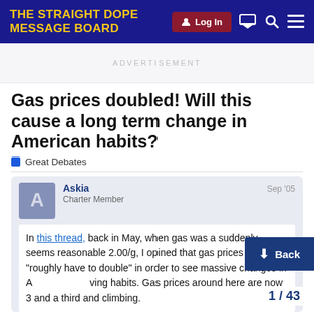THE STRAIGHT DOPE MESSAGE BOARD
ADVERTISEMENT
Gas prices doubled! Will this cause a long term change in American habits?
Great Debates
Askia
Charter Member
Sep '05
In this thread, back in May, when gas was a suddenly seems reasonable 2.00/g, I opined that gas prices would "roughly have to double" in order to see massive changes in American driving habits. Gas prices around here are now 3 and a third and climbing.
↓ Back
1 / 43